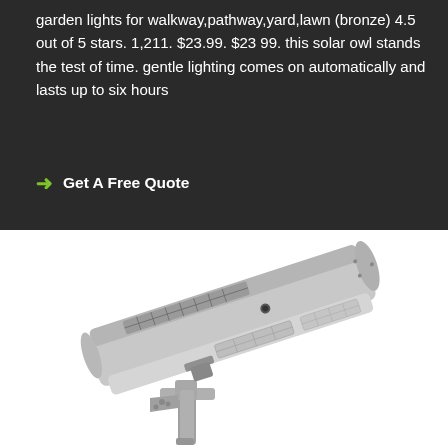garden lights for walkway,pathway,yard,lawn (bronze) 4.5 out of 5 stars. 1,211. $23.99. $23 99. this solar owl stands the test of time. gentle lighting comes on automatically and lasts up to six hours
→ Get A Free Quote
[Figure (photo): A silver/gray integrated solar street light mounted on a pole, shown at an angle. The unit is an all-in-one design with solar panel on top and LED light housing, with mounting bracket at the bottom.]